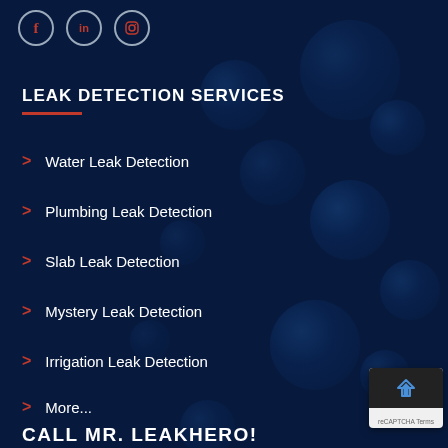[Figure (illustration): Social media icons: Facebook (f), LinkedIn (in), Instagram camera icon — white circles with red symbols on dark blue background]
LEAK DETECTION SERVICES
Water Leak Detection
Plumbing Leak Detection
Slab Leak Detection
Mystery Leak Detection
Irrigation Leak Detection
More...
CALL MR. LEAKHERO!